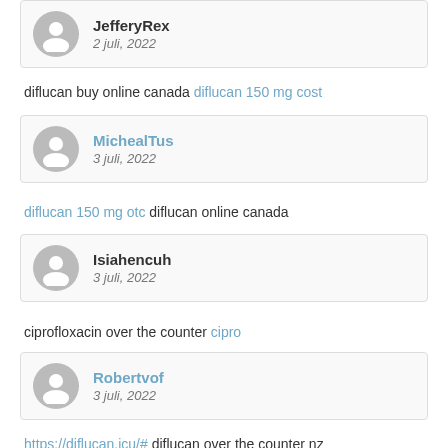JefferyRex
2 juli, 2022
diflucan buy online canada diflucan 150 mg cost
MichealTus
3 juli, 2022
diflucan 150 mg otc diflucan online canada
Isiahencuh
3 juli, 2022
ciprofloxacin over the counter cipro
Robertvof
3 juli, 2022
https://diflucan.icu/# diflucan over the counter nz